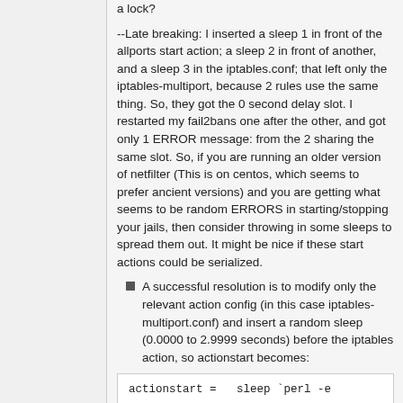a lock?
--Late breaking: I inserted a sleep 1 in front of the allports start action; a sleep 2 in front of another, and a sleep 3 in the iptables.conf; that left only the iptables-multiport, because 2 rules use the same thing. So, they got the 0 second delay slot. I restarted my fail2bans one after the other, and got only 1 ERROR message: from the 2 sharing the same slot. So, if you are running an older version of netfilter (This is on centos, which seems to prefer ancient versions) and you are getting what seems to be random ERRORS in starting/stopping your jails, then consider throwing in some sleeps to spread them out. It might be nice if these start actions could be serialized.
A successful resolution is to modify only the relevant action config (in this case iptables-multiport.conf) and insert a random sleep (0.0000 to 2.9999 seconds) before the iptables action, so actionstart becomes:
actionstart =   sleep `perl -e